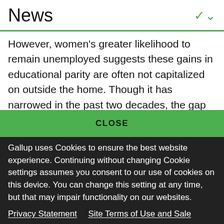News
However, women's greater likelihood to remain unemployed suggests these gains in educational parity are often not capitalized on outside the home. Though it has narrowed in the past two decades, the gap between the proportion of men
CLOSE
Gallup uses Cookies to ensure the best website experience. Continuing without changing Cookie settings assumes you consent to our use of cookies on this device. You can change this setting at any time, but that may impair functionality on our websites.
Privacy Statement   Site Terms of Use and Sale
Product Terms of Use   Adjust your cookie settings.